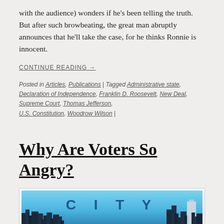with the audience) wonders if he's been telling the truth. But after such browbeating, the great man abruptly announces that he'll take the case, for he thinks Ronnie is innocent.
CONTINUE READING →
Posted in Articles, Publications | Tagged Administrative state, Declaration of Independence, Franklin D. Roosevelt, New Deal, Supreme Court, Thomas Jefferson, U.S. Constitution, Woodrow Wilson |
Why Are Voters So Angry?
[Figure (logo): City Journal banner/logo showing city skyline with the text CITY JOURNAL]
Summer 2016